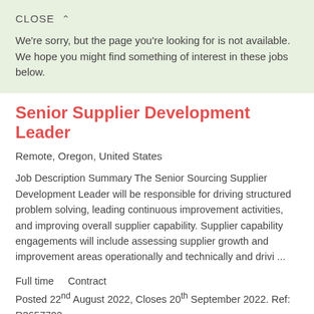CLOSE ^
We're sorry, but the page you're looking for is not available. We hope you might find something of interest in these jobs below.
Senior Supplier Development Leader
Remote, Oregon, United States
Job Description Summary The Senior Sourcing Supplier Development Leader will be responsible for driving structured problem solving, leading continuous improvement activities, and improving overall supplier capability. Supplier capability engagements will include assessing supplier growth and improvement areas operationally and technically and drivi ...
Full time    Contract
Posted 22nd August 2022, Closes 20th September 2022. Ref: R3657702
More details
GE Aviation